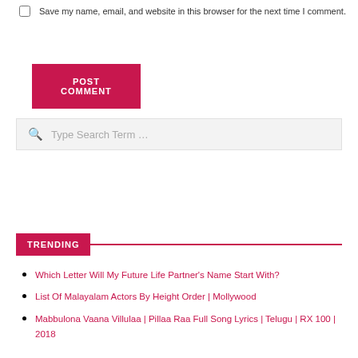Save my name, email, and website in this browser for the next time I comment.
POST COMMENT
Type Search Term …
TRENDING
Which Letter Will My Future Life Partner's Name Start With?
List Of Malayalam Actors By Height Order | Mollywood
Mabbulona Vaana Villulaa | Pillaa Raa Full Song Lyrics | Telugu | RX 100 | 2018